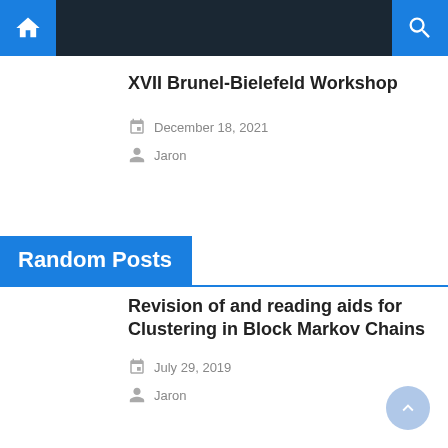Navigation bar with home, menu, and search icons
XVII Brunel-Bielefeld Workshop
December 18, 2021
Jaron
Random Posts
Revision of and reading aids for Clustering in Block Markov Chains
July 29, 2019
Jaron